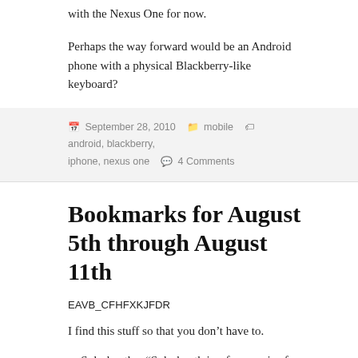with the Nexus One for now.
Perhaps the way forward would be an Android phone with a physical Blackberry-like keyboard?
September 28, 2010   mobile   android, blackberry, iphone, nexus one   4 Comments
Bookmarks for August 5th through August 11th
EAVB_CFHFXKJFDR
I find this stuff so that you don’t have to.
Splashpath – “Splashpath is a free service for Leisure Operators to create, update and